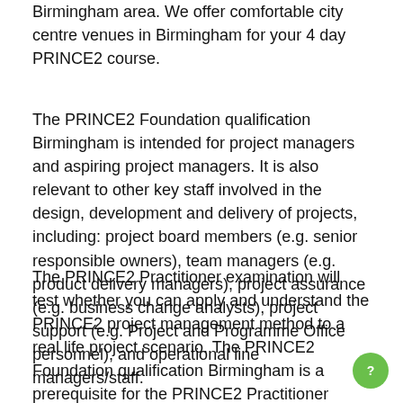Birmingham area. We offer comfortable city centre venues in Birmingham for your 4 day PRINCE2 course.
The PRINCE2 Foundation qualification Birmingham is intended for project managers and aspiring project managers. It is also relevant to other key staff involved in the design, development and delivery of projects, including: project board members (e.g. senior responsible owners), team managers (e.g. product delivery managers), project assurance (e.g. business change analysts), project support (e.g. Project and Programme Office personnel), and operational line managers/staff.
The PRINCE2 Practitioner examination will test whether you can apply and understand the PRINCE2 project management method to a real life project scenario. The PRINCE2 Foundation qualification Birmingham is a prerequisite for the PRINCE2 Practitioner exam, which assesses the ability to apply understanding of the PRINCE2 project management method in context.